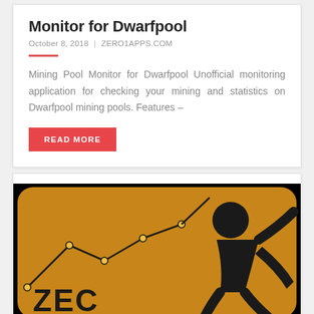Monitor for Dwarfpool
October 8, 2018 | ZERO1APPS.COM
Mining Pool Monitor for Dwarfpool Unofficial monitoring application for checking your mining and statistics on Dwarfpool mining pools. Features –
READ MORE
[Figure (illustration): App icon or promotional image for a ZEC (Zcash) mining pool monitor app. Orange/golden background with a black line chart graphic on the left and a black stylized human figure throwing/mining on the right. Text 'ZEC' in large bold black letters at the bottom left.]